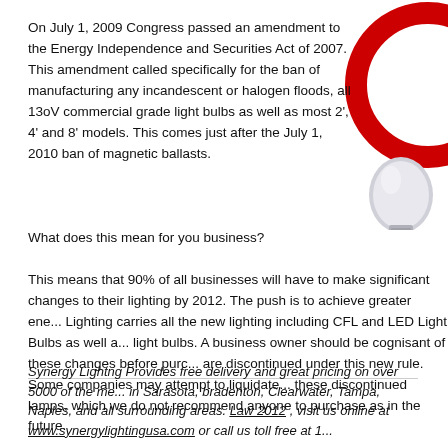On July 1, 2009 Congress passed an amendment to the Energy Independence and Securities Act of 2007. This amendment called specifically for the ban of manufacturing any incandescent or halogen floods, all 13oV commercial grade light bulbs as well as most 2', 4' and 8' models. This comes just after the July 1, 2010 ban of magnetic ballasts.
[Figure (photo): Partial image of a light bulb with a red circular graphic element, cropped at top-right corner of page]
What does this mean for you business?
This means that 90% of all businesses will have to make significant changes to their lighting by 2012. The push is to achieve greater ene... Lighting carries all the new lighting including CFL and LED Light Bulbs as well a... light bulbs. A business owner should be cognisant of these changes before purc... are discontinued under this new rule. Some companies may attempt to liquidate... these discontinued lamps, which we do not recommend anyone to purchase as ... in the future.
Synergy Lightng Provides free delivery and great pricing on over 5000 of the me... in Sarasota, bradenton, Clearwater, Tampa, Naples, and all surrounding areas. Law 2012 , visit us online at www.synergylightingusa.com or call us toll free at 1...